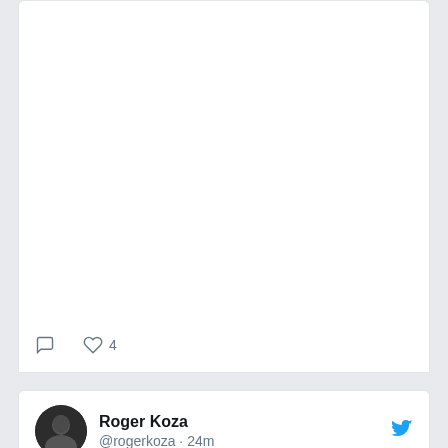[Figure (screenshot): Top portion of a tweet card showing white empty space (content above the visible area)]
♡ 4
Roger Koza @rogerkoza · 24m
HOY
Editorial:
Los planos de infancia.

Festivales:
Festival de Gramado: